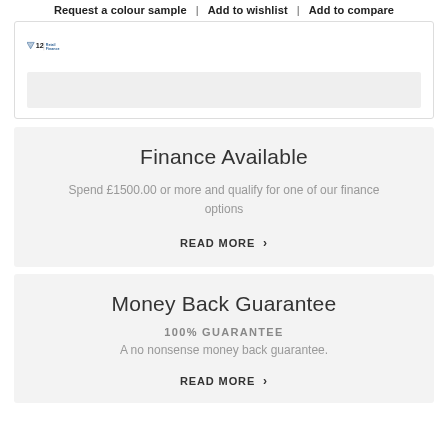Request a colour sample  |  Add to wishlist  |  Add to compare
[Figure (logo): V12 Retail Finance logo with blue triangle and text]
Finance Available
Spend £1500.00 or more and qualify for one of our finance options
READ MORE >
Money Back Guarantee
100% GUARANTEE
A no nonsense money back guarantee.
READ MORE >